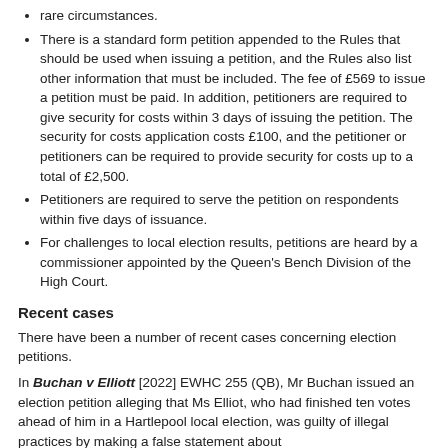rare circumstances.
There is a standard form petition appended to the Rules that should be used when issuing a petition, and the Rules also list other information that must be included. The fee of £569 to issue a petition must be paid. In addition, petitioners are required to give security for costs within 3 days of issuing the petition. The security for costs application costs £100, and the petitioner or petitioners can be required to provide security for costs up to a total of £2,500.
Petitioners are required to serve the petition on respondents within five days of issuance.
For challenges to local election results, petitions are heard by a commissioner appointed by the Queen's Bench Division of the High Court.
Recent cases
There have been a number of recent cases concerning election petitions.
In Buchan v Elliott [2022] EWHC 255 (QB), Mr Buchan issued an election petition alleging that Ms Elliot, who had finished ten votes ahead of him in a Hartlepool local election, was guilty of illegal practices by making a false statement about